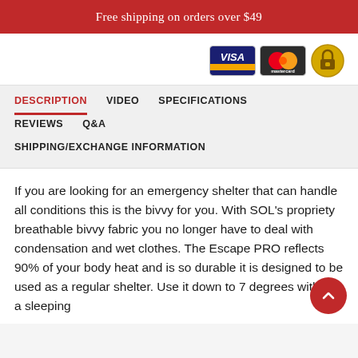Free shipping on orders over $49
[Figure (logo): Payment icons: Visa card, Mastercard, and a padlock/security badge]
DESCRIPTION  VIDEO  SPECIFICATIONS
REVIEWS  Q&A
SHIPPING/EXCHANGE INFORMATION
If you are looking for an emergency shelter that can handle all conditions this is the bivvy for you. With SOL's propriety breathable bivvy fabric you no longer have to deal with condensation and wet clothes. The Escape PRO reflects 90% of your body heat and is so durable it is designed to be used as a regular shelter. Use it down to 7 degrees without a sleeping